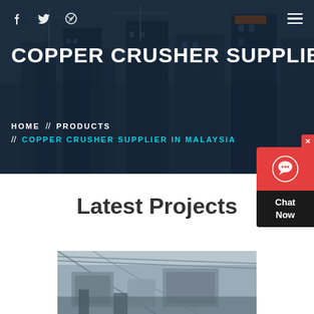[Figure (photo): Hero banner with construction site background showing cranes and tall buildings under construction, with dark blue overlay]
Social icons (Facebook, Twitter, Dribbble) and hamburger menu
COPPER CRUSHER SUPPLIER IN
HOME // PRODUCTS // COPPER CRUSHER SUPPLIER IN MALAYSIA
Latest Projects
[Figure (photo): Construction site interior showing industrial machinery and structural elements]